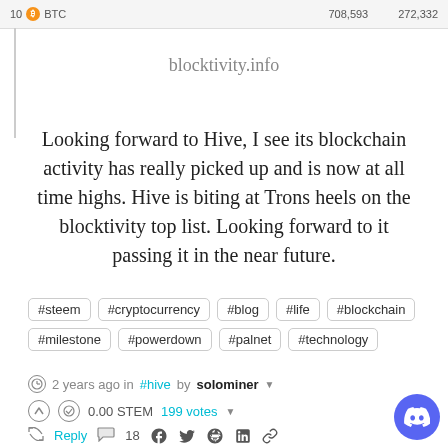10 BTC 708,593 272,332
blocktivity.info
Looking forward to Hive, I see its blockchain activity has really picked up and is now at all time highs. Hive is biting at Trons heels on the blocktivity top list. Looking forward to it passing it in the near future.
#steem #cryptocurrency #blog #life #blockchain #milestone #powerdown #palnet #technology
2 years ago in #hive by solominer
0.00 STEM  199 votes
Reply  18